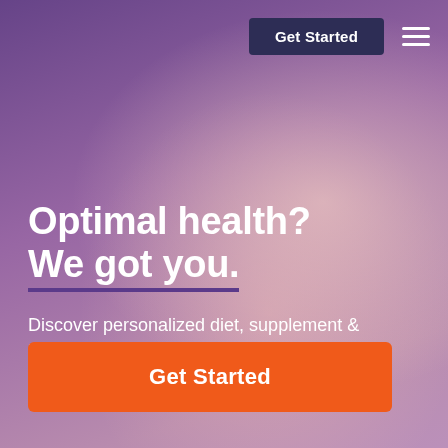[Figure (photo): Background photo of a person (appears to be a woman with eyes closed, smiling, wearing a light-colored top) with a purple/mauve color overlay gradient across the entire page.]
Get Started
Optimal health? We got you.
Discover personalized diet, supplement & lifestyle plans with our advanced health DNA testing & analysis.
Get Started